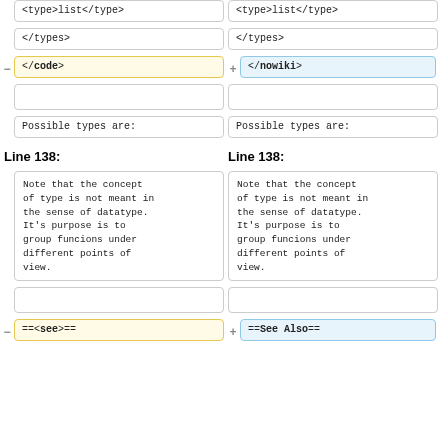<type>list</type>  |  <type>list</type>
</types>  |  </types>
- </code>  |  + </nowiki>
(empty boxes)
Possible types are:  |  Possible types are:
Line 138:  |  Line 138:
Note that the concept of type is not meant in the sense of datatype. It's purpose is to group funcions under different points of view.
(empty boxes)
- ==<see>==  |  + ==See Also==